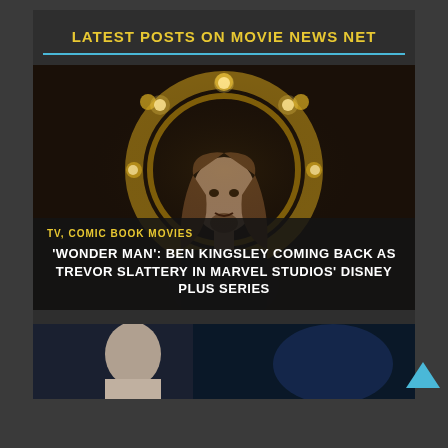LATEST POSTS ON MOVIE NEWS NET
[Figure (photo): A man with long brown hair and beard sitting in front of an ornate golden circular mirror with lights, wearing dark leather/armor costume — Trevor Slattery / Ben Kingsley character from Marvel]
TV, COMIC BOOK MOVIES
'WONDER MAN': BEN KINGSLEY COMING BACK AS TREVOR SLATTERY IN MARVEL STUDIOS' DISNEY PLUS SERIES
[Figure (photo): Partial photo of a person, head and upper body visible, against a blue/dark background — second article thumbnail]